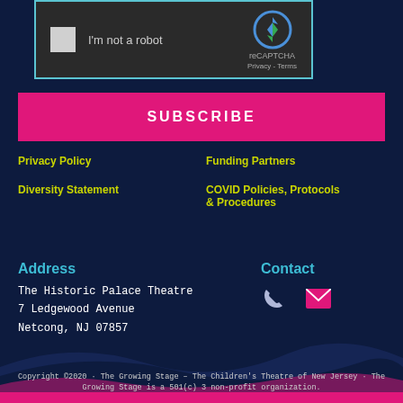[Figure (screenshot): reCAPTCHA widget with checkbox 'I'm not a robot' on dark background]
SUBSCRIBE
Privacy Policy
Funding Partners
Diversity Statement
COVID Policies, Protocols & Procedures
Address
The Historic Palace Theatre
7 Ledgewood Avenue
Netcong, NJ 07857
Contact
Copyright ©2020 · The Growing Stage – The Children's Theatre of New Jersey · The Growing Stage is a 501(c) 3 non-profit organization.